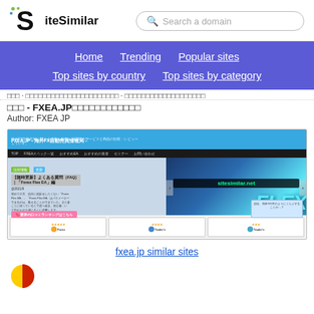SiteSimilar | Search a domain
Home  Trending  Popular sites  Top sites by country  Top sites by category
自動売買 - FXEA.JPの海外FX自動売買情報局
Author: FXEA JP
[Figure (screenshot): Screenshot of FXEA.JP website showing a blue header, navigation bar, and content about Forex Flex EA with sitesimilar.net watermark overlay and ratings at the bottom]
fxea.jp similar sites